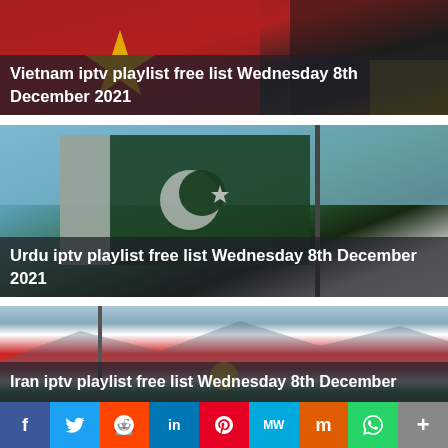[Figure (photo): Vietnam flag with red background and yellow star]
Vietnam iptv playlist free list Wednesday 8th December 2021
[Figure (photo): Pakistan flag waving on a pole against blue sky]
Urdu iptv playlist free list Wednesday 8th December 2021
[Figure (photo): Kurdistan/Iran flag with red, white, green stripes and sun emblem]
Iran iptv playlist free list Wednesday 8th December
f  t  r  in  P  MW  M  W  +